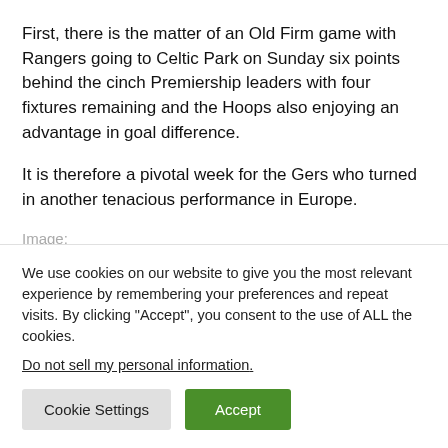First, there is the matter of an Old Firm game with Rangers going to Celtic Park on Sunday six points behind the cinch Premiership leaders with four fixtures remaining and the Hoops also enjoying an advantage in goal difference.
It is therefore a pivotal week for the Gers who turned in another tenacious performance in Europe.
Image:
We use cookies on our website to give you the most relevant experience by remembering your preferences and repeat visits. By clicking “Accept”, you consent to the use of ALL the cookies.
Do not sell my personal information.